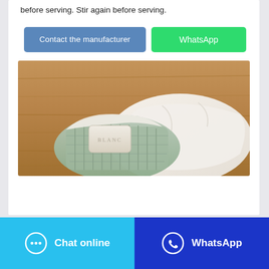before serving. Stir again before serving.
Contact the manufacturer
WhatsApp
[Figure (photo): A bar of soap sitting in a woven/textured basket lined with white cloth napkin on a wooden surface.]
Chat online
WhatsApp